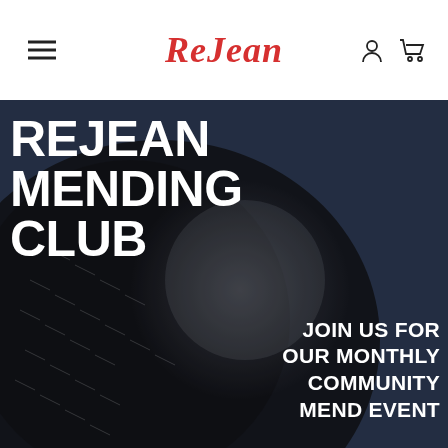ReJean
[Figure (screenshot): Hero banner image showing dark denim jeans fabric with stitching texture on a dark navy background, with bold white text overlaid reading REJEAN MENDING CLUB and JOIN US FOR OUR MONTHLY COMMUNITY MEND EVENT]
REJEAN MENDING CLUB
JOIN US FOR OUR MONTHLY COMMUNITY MEND EVENT